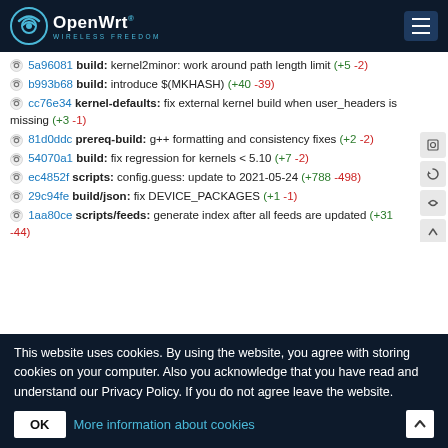OpenWrt
5a96081 build: kernel2minor: work around path length limit (+5 -2)
b993b68 build: introduce $(MKHASH) (+40 -39)
cc76e34 kernel-defaults: fix external kernel build when user_headers is missing (+3 -1)
81d0ddc prereq-build: g++ formatting and consistency fixes (+2 -2)
54070a1 build: fix regression for kernels < 5.10 (+7 -2)
ec4852f scripts: config.guess: update to 2021-05-24 (+788 -498)
29c94fe build/json: fix DEVICE_PACKAGES (+1 -1)
1aa80ce scripts/feeds: generate index after all feeds are updated (+31 -44)
This website uses cookies. By using the website, you agree with storing cookies on your computer. Also you acknowledge that you have read and understand our Privacy Policy. If you do not agree leave the website.